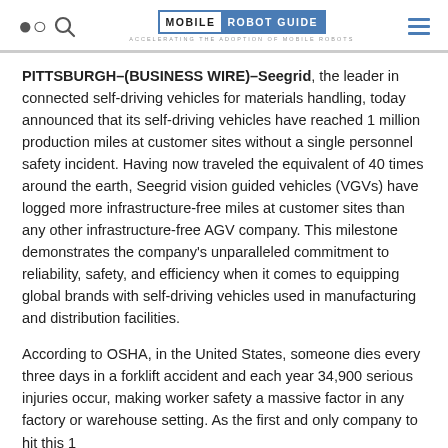Mobile Robot Guide — ACCELERATING THE ADOPTION OF MOBILE ROBOTS
PITTSBURGH–(BUSINESS WIRE)–Seegrid, the leader in connected self-driving vehicles for materials handling, today announced that its self-driving vehicles have reached 1 million production miles at customer sites without a single personnel safety incident. Having now traveled the equivalent of 40 times around the earth, Seegrid vision guided vehicles (VGVs) have logged more infrastructure-free miles at customer sites than any other infrastructure-free AGV company. This milestone demonstrates the company's unparalleled commitment to reliability, safety, and efficiency when it comes to equipping global brands with self-driving vehicles used in manufacturing and distribution facilities.
According to OSHA, in the United States, someone dies every three days in a forklift accident and each year 34,900 serious injuries occur, making worker safety a massive factor in any factory or warehouse setting. As the first and only company to hit this 1